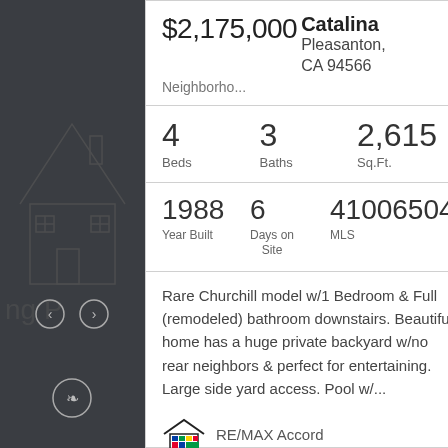[Figure (illustration): Dark gray panel with house outline illustration and navigation arrows on a property listing card]
$2,175,000
Catalina
Pleasanton, CA 94566
Neighborho...
4 Beds  3 Baths  2,615 Sq.Ft.
1988 Year Built  6 Days on Site  41006504 MLS
Rare Churchill model w/1 Bedroom & Full (remodeled) bathroom downstairs. Beautiful home has a huge private backyard w/no rear neighbors & perfect for entertaining. Large side yard access. Pool w/...
RE/MAX Accord